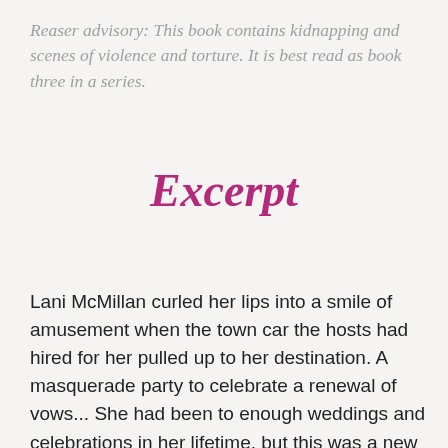Reaser advisory: This book contains kidnapping and scenes of violence and torture. It is best read as book three in a series.
Excerpt
Lani McMillan curled her lips into a smile of amusement when the town car the hosts had hired for her pulled up to her destination. A masquerade party to celebrate a renewal of vows... She had been to enough weddings and celebrations in her lifetime, but this was a new twist. As she emerged from the vehicle, she smoothed the long black dress with a thigh-